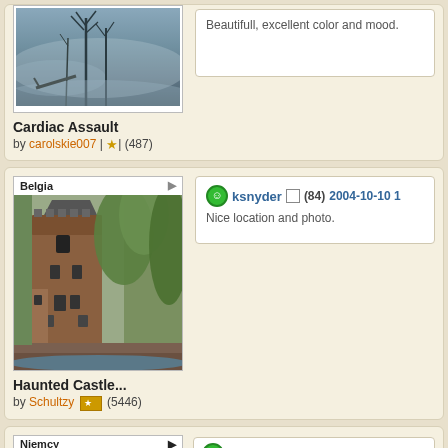[Figure (photo): Partial top card showing foggy forest/trees photo - Cardiac Assault by carolskie007]
Beautifull, excellent color and mood.
Cardiac Assault
by carolskie007 | ★ | (487)
[Figure (photo): Belgia - photo of Haunted Castle, brick medieval tower with trees]
ksnyder  (84) 2004-10-10
Nice location and photo.
Haunted Castle...
by Schultzy ★ (5446)
Niemcy